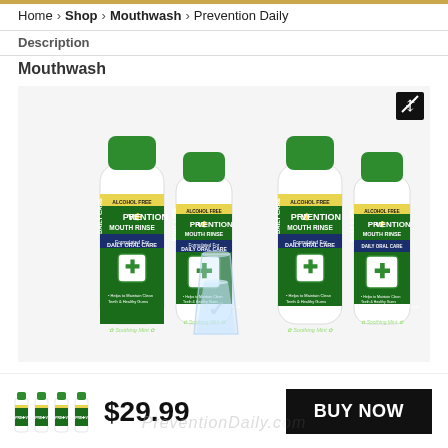Home > Shop > Mouthwash > Prevention Daily
Description
Mouthwash
[Figure (photo): Four bottles of Prevention Mouth Rinse (Alcohol Free, Daily Oral Care, Soothing Mint) arranged with a glass of water in the foreground]
$29.99
BUY NOW